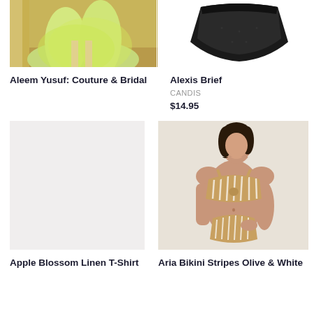[Figure (photo): Partial view of a model in a light green flowing couture gown on a runway, cropped at the waist down]
Aleem Yusuf: Couture & Bridal
[Figure (photo): Black bikini brief underwear on white background, cropped view]
Alexis Brief
CANDIS
$14.95
[Figure (photo): Light gray placeholder image box]
Apple Blossom Linen T-Shirt
[Figure (photo): Female model wearing a strappy olive and white striped bikini set, posing against a light gray background]
Aria Bikini Stripes Olive & White